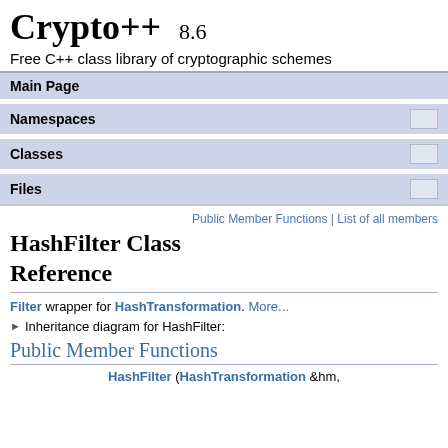Crypto++ 8.6
Free C++ class library of cryptographic schemes
Main Page
Namespaces
Classes
Files
Public Member Functions | List of all members
HashFilter Class Reference
Filter wrapper for HashTransformation. More...
▶ Inheritance diagram for HashFilter:
Public Member Functions
HashFilter (HashTransformation &hm,